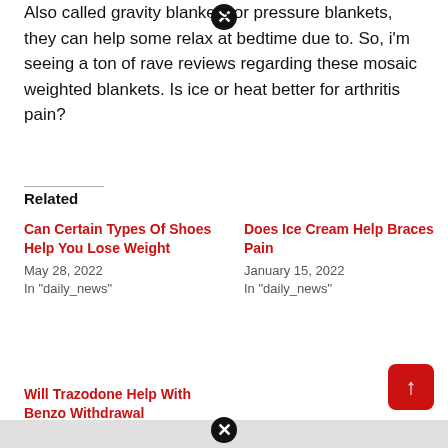Also called gravity blankets or pressure blankets, they can help some relax at bedtime due to. So, i'm seeing a ton of rave reviews regarding these mosaic weighted blankets. Is ice or heat better for arthritis pain?
Related
Can Certain Types Of Shoes Help You Lose Weight
May 28, 2022
In "daily_news"
Does Ice Cream Help Braces Pain
January 15, 2022
In "daily_news"
Will Trazodone Help With Benzo Withdrawal
November 11, 2021
In "daily_news"